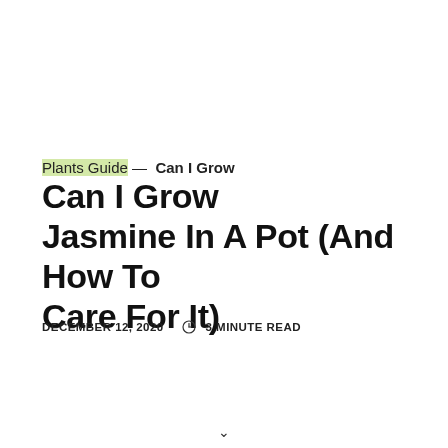Plants Guide — Can I Grow Jasmine In A Pot (And How To Care For It)
Can I Grow Jasmine In A Pot (And How To Care For It)
DECEMBER 12, 2020    3 MINUTE READ